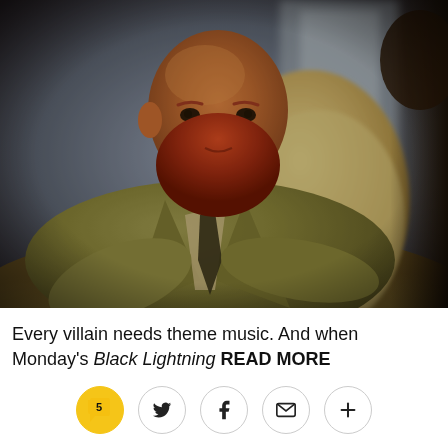[Figure (photo): A large bald man with a red beard wearing an olive/khaki suit sitting in a cream-colored chair in a warmly lit room. Cinematic TV still.]
Every villain needs theme music. And when Monday's Black Lightning READ MORE